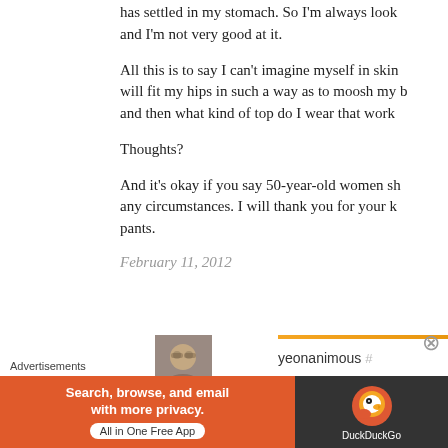has settled in my stomach. So I'm always look and I'm not very good at it.
All this is to say I can't imagine myself in skin will fit my hips in such a way as to moosh my b and then what kind of top do I wear that work
Thoughts?
And it's okay if you say 50-year-old women sh any circumstances. I will thank you for your k pants.
February 11, 2012
[Figure (photo): User avatar photo showing a person with glasses]
yeonanimous
Advertisements
[Figure (infographic): DuckDuckGo advertisement banner: Search, browse, and email with more privacy. All in One Free App.]